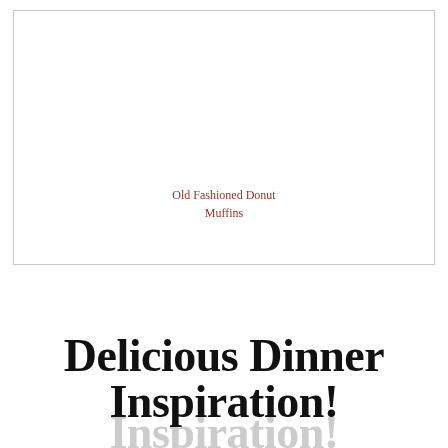[Figure (photo): White rectangular bordered image placeholder area with a text caption inside reading 'Old Fashioned Donut Muffins' in brown/terracotta colored serif font.]
Old Fashioned Donut Muffins
Delicious Dinner Inspiration!